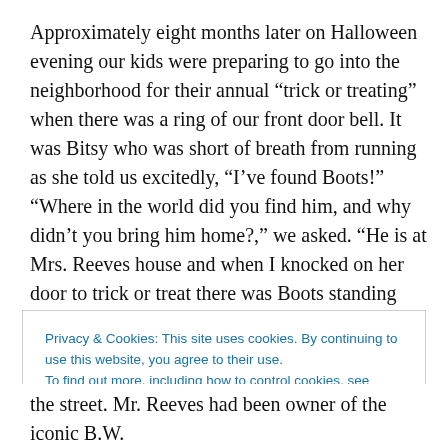Approximately eight months later on Halloween evening our kids were preparing to go into the neighborhood for their annual “trick or treating” when there was a ring of our front door bell. It was Bitsy who was short of breath from running as she told us excitedly, “I’ve found Boots!” “Where in the world did you find him, and why didn’t you bring him home?,” we asked. “He is at Mrs. Reeves house and when I knocked on her door to trick or treat there was Boots standing beside her.”
Privacy & Cookies: This site uses cookies. By continuing to use this website, you agree to their use.
To find out more, including how to control cookies, see here: Cookie Policy
the street. Mr. Reeves had been owner of the iconic B.W.